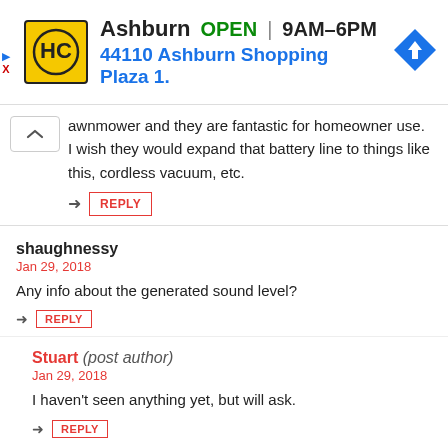[Figure (infographic): Advertisement banner for HC store in Ashburn showing logo, OPEN status, hours 9AM-6PM, address 44110 Ashburn Shopping Plaza 1., and navigation arrow icon]
awnmower and they are fantastic for homeowner use. I wish they would expand that battery line to things like this, cordless vacuum, etc.
REPLY
shaughnessy
Jan 29, 2018
Any info about the generated sound level?
REPLY
Stuart (post author)
Jan 29, 2018
I haven't seen anything yet, but will ask.
REPLY